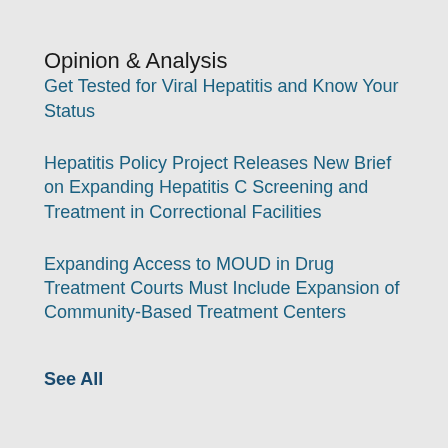Opinion & Analysis
Get Tested for Viral Hepatitis and Know Your Status
Hepatitis Policy Project Releases New Brief on Expanding Hepatitis C Screening and Treatment in Correctional Facilities
Expanding Access to MOUD in Drug Treatment Courts Must Include Expansion of Community-Based Treatment Centers
See All